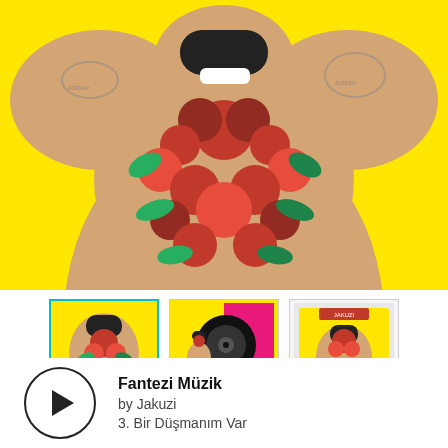[Figure (photo): Album cover art: person with black mask, red roses and floral garland draped over body, tattoos visible, bright yellow background]
[Figure (photo): Three thumbnail product images of the Fantezi Müzik album: (1) main artwork with yellow border/selected, (2) vinyl record yellow/pink edition, (3) CD edition]
Fantezi Müzik
by Jakuzi
3. Bir Düşmanım Var